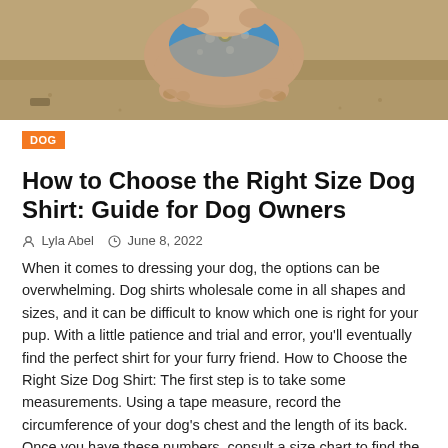[Figure (photo): A small fluffy dog wearing a blue Hawaiian-style shirt, photographed from above on sandy ground, showing the dog's back and paws.]
DOG
How to Choose the Right Size Dog Shirt: Guide for Dog Owners
Lyla Abel   June 8, 2022
When it comes to dressing your dog, the options can be overwhelming. Dog shirts wholesale come in all shapes and sizes, and it can be difficult to know which one is right for your pup. With a little patience and trial and error, you'll eventually find the perfect shirt for your furry friend. How to Choose the Right Size Dog Shirt: The first step is to take some measurements. Using a tape measure, record the circumference of your dog's chest and the length of its back. Once you have these numbers, consult a size chart to find the shirt that will best fit your dog. It's important to choose a knick knacks